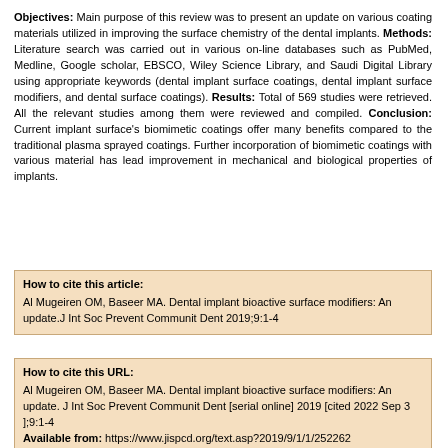Objectives: Main purpose of this review was to present an update on various coating materials utilized in improving the surface chemistry of the dental implants. Methods: Literature search was carried out in various on-line databases such as PubMed, Medline, Google scholar, EBSCO, Wiley Science Library, and Saudi Digital Library using appropriate keywords (dental implant surface coatings, dental implant surface modifiers, and dental surface coatings). Results: Total of 569 studies were retrieved. All the relevant studies among them were reviewed and compiled. Conclusion: Current implant surface's biomimetic coatings offer many benefits compared to the traditional plasma sprayed coatings. Further incorporation of biomimetic coatings with various material has lead improvement in mechanical and biological properties of implants.
How to cite this article: Al Mugeiren OM, Baseer MA. Dental implant bioactive surface modifiers: An update.J Int Soc Prevent Communit Dent 2019;9:1-4
How to cite this URL: Al Mugeiren OM, Baseer MA. Dental implant bioactive surface modifiers: An update. J Int Soc Prevent Communit Dent [serial online] 2019 [cited 2022 Sep 3 ];9:1-4 Available from: https://www.jispcd.org/text.asp?2019/9/1/1/252262